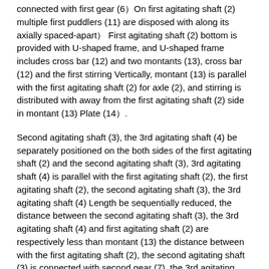connected with first gear (6）On first agitating shaft (2) multiple first puddlers (11) are disposed with along its axially spaced-apart） First agitating shaft (2) bottom is provided with U-shaped frame, and U-shaped frame includes cross bar (12) and two montants (13), cross bar (12) and the first stirring Vertically, montant (13) is parallel with the first agitating shaft (2) for axle (2), and stirring is distributed with away from the first agitating shaft (2) side in montant (13) Plate (14）.
Second agitating shaft (3), the 3rd agitating shaft (4) be separately positioned on the both sides of the first agitating shaft (2) and the second agitating shaft (3), 3rd agitating shaft (4) is parallel with the first agitating shaft (2), the first agitating shaft (2), the second agitating shaft (3), the 3rd agitating shaft (4) Length be sequentially reduced, the distance between the second agitating shaft (3), the 3rd agitating shaft (4) and first agitating shaft (2) are respectively less than montant (13) the distance between with the first agitating shaft (2), the second agitating shaft (3) is connected with second gear (7), the 3rd agitating shaft (4) and 3rd gear (8) is connected, and second gear (7), the 3rd gear (8) are engaged with first gear (6）Edge on second agitating shaft (3) Its axially spaced-apart is disposed with multiple second puddlers (15), and the second puddler (15) is